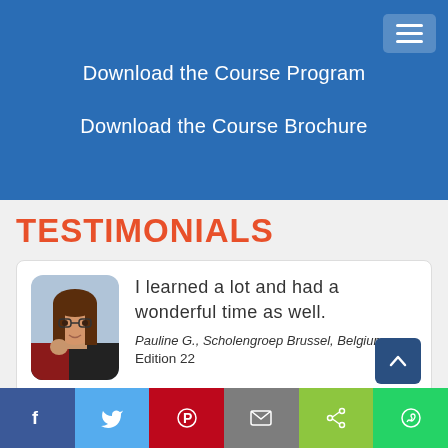[Figure (screenshot): Blue header with hamburger menu icon in top right corner and two white text links: 'Download the Course Program' and 'Download the Course Brochure']
TESTIMONIALS
[Figure (photo): Photo of Pauline G., a woman with glasses and long brown hair, wearing a red and black jacket]
I learned a lot and had a wonderful time as well.
Pauline G., Scholengroep Brussel, Belgium
Edition 22
[Figure (screenshot): Social media sharing bar at the bottom with Facebook, Twitter, Pinterest, Email, Share, and WhatsApp buttons]